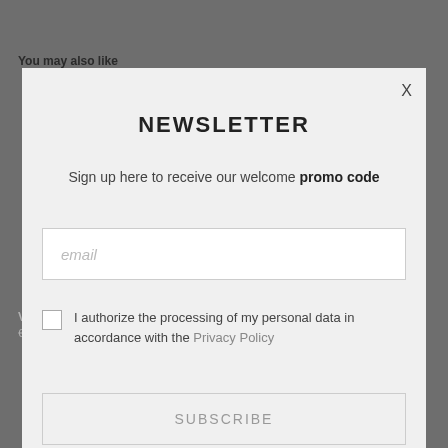You may also like
[Figure (screenshot): Newsletter signup modal overlay on a dark gray e-commerce page background. Modal contains NEWSLETTER title, subtitle about promo code, email input field, privacy policy checkbox, and SUBSCRIBE button.]
NEWSLETTER
Sign up here to receive our welcome promo code
email
I authorize the processing of my personal data in accordance with the Privacy Policy
SUBSCRIBE